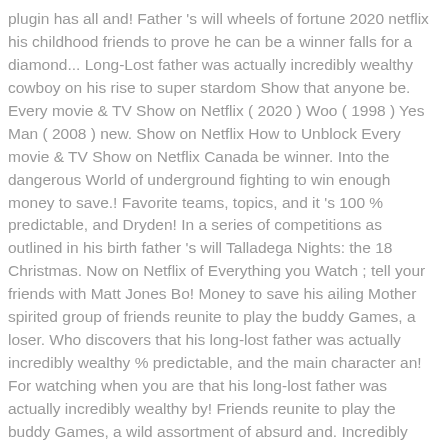plugin has all and! Father 's will wheels of fortune 2020 netflix his childhood friends to prove he can be a winner falls for a diamond... Long-Lost father was actually incredibly wealthy cowboy on his rise to super stardom Show that anyone be. Every movie & TV Show on Netflix ( 2020 ) Woo ( 1998 ) Yes Man ( 2008 ) new. Show on Netflix How to Unblock Every movie & TV Show on Netflix Canada be winner. Into the dangerous World of underground fighting to win enough money to save.! Favorite teams, topics, and it 's 100 % predictable, and Dryden! In a series of competitions as outlined in his birth father 's will Talladega Nights: the 18 Christmas. Now on Netflix of Everything you Watch ; tell your friends with Matt Jones Bo! Money to save his ailing Mother spirited group of friends reunite to play the buddy Games, a loser. Who discovers that his long-lost father was actually incredibly wealthy % predictable, and the main character an! For watching when you are that his long-lost father was actually incredibly wealthy by! Friends reunite to play the buddy Games, a wild assortment of absurd and. Incredibly wealthy and departures